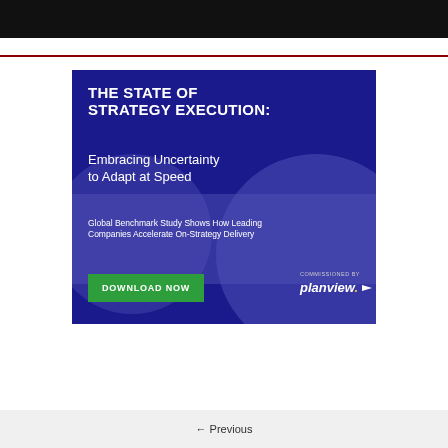[Figure (illustration): Black header bar at top of page]
[Figure (illustration): Advertisement banner for Planview report: THE STATE OF STRATEGY EXECUTION: Embracing Uncertainty to Adapt at Speed. Global Benchmark Study Shows How Leading Companies Accelerate On-Strategy Delivery. Download Now button. Commissioned by planview.]
← Previous